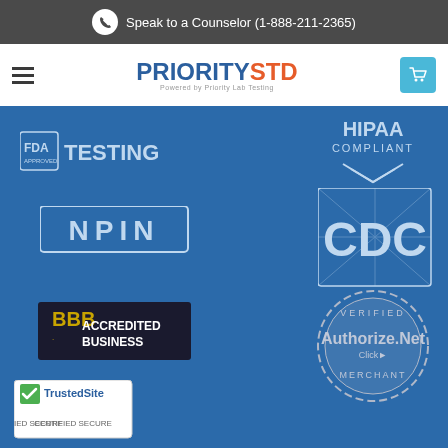Speak to a Counselor (1-888-211-2365)
[Figure (logo): PrioritySTD logo with 'PRIORITY' in blue and 'STD' in orange, subtitle 'Powered by Priority Lab Testing']
[Figure (logo): FDA Approved Testing badge]
[Figure (logo): HIPAA Compliant badge]
[Figure (logo): NPIN logo badge]
[Figure (logo): CDC logo badge]
[Figure (logo): BBB Accredited Business badge]
[Figure (logo): Authorize.Net Verified Merchant badge]
[Figure (logo): TrustedSite Certified Secure badge]